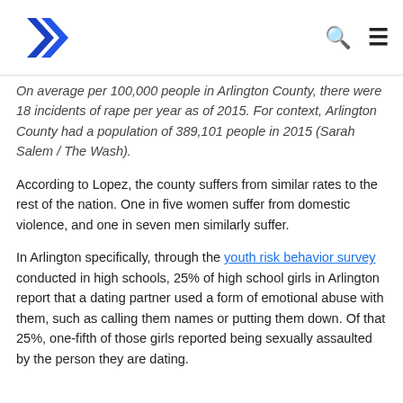[Logo] [Search icon] [Menu icon]
On average per 100,000 people in Arlington County, there were 18 incidents of rape per year as of 2015. For context, Arlington County had a population of 389,101 people in 2015 (Sarah Salem / The Wash).
According to Lopez, the county suffers from similar rates to the rest of the nation. One in five women suffer from domestic violence, and one in seven men similarly suffer.
In Arlington specifically, through the youth risk behavior survey conducted in high schools, 25% of high school girls in Arlington report that a dating partner used a form of emotional abuse with them, such as calling them names or putting them down. Of that 25%, one-fifth of those girls reported being sexually assaulted by the person they are dating.